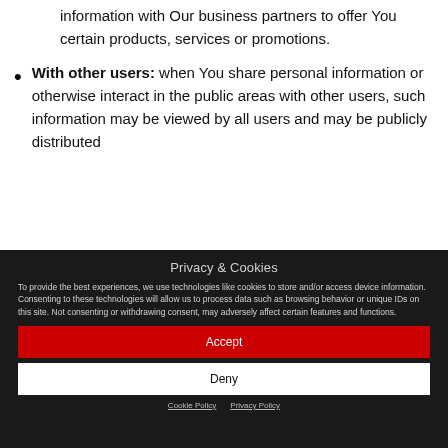information with Our business partners to offer You certain products, services or promotions.
With other users: when You share personal information or otherwise interact in the public areas with other users, such information may be viewed by all users and may be publicly distributed
Privacy & Cookies
To provide the best experiences, we use technologies like cookies to store and/or access device information. Consenting to these technologies will allow us to process data such as browsing behavior or unique IDs on this site. Not consenting or withdrawing consent, may adversely affect certain features and functions.
Accept
Deny
Cookie Policy  Privacy Policy